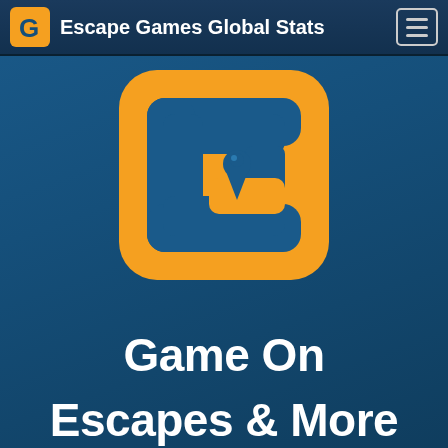Escape Games Global Stats
[Figure (logo): Orange rounded-square logo with a stylized letter G incorporating a keyhole symbol, on a dark blue gradient background]
Game On Escapes & More